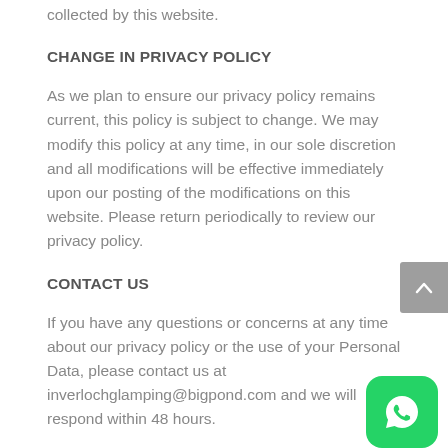collected by this website.
CHANGE IN PRIVACY POLICY
As we plan to ensure our privacy policy remains current, this policy is subject to change. We may modify this policy at any time, in our sole discretion and all modifications will be effective immediately upon our posting of the modifications on this website. Please return periodically to review our privacy policy.
CONTACT US
If you have any questions or concerns at any time about our privacy policy or the use of your Personal Data, please contact us at inverlochglamping@bigpond.com and we will respond within 48 hours.